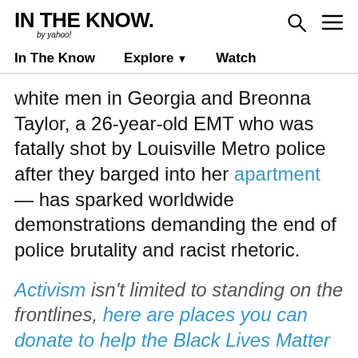IN THE KNOW. by yahoo!
white men in Georgia and Breonna Taylor, a 26-year-old EMT who was fatally shot by Louisville Metro police after they barged into her apartment — has sparked worldwide demonstrations demanding the end of police brutality and racist rhetoric.
Activism isn't limited to standing on the frontlines, here are places you can donate to help the Black Lives Matter movement and the protestors.